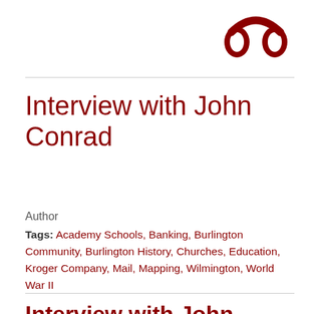[Figure (logo): Dark red headphones icon logo in top right corner]
Interview with John Conrad
Author
Tags: Academy Schools, Banking, Burlington Community, Burlington History, Churches, Education, Kroger Company, Mail, Mapping, Wilmington, World War II
Interview with John